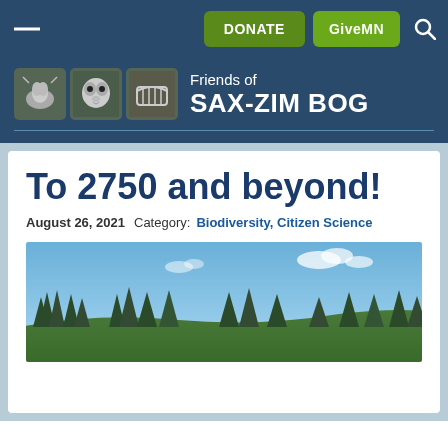DONATE  GiveMN
[Figure (logo): Friends of Sax-Zim Bog logo with three icon boxes showing wildlife illustrations and organization name]
To 2750 and beyond!
August 26, 2021   Category: Biodiversity, Citizen Science
[Figure (photo): Landscape photo of bog with evergreen tree silhouettes against a blue sky with white clouds]